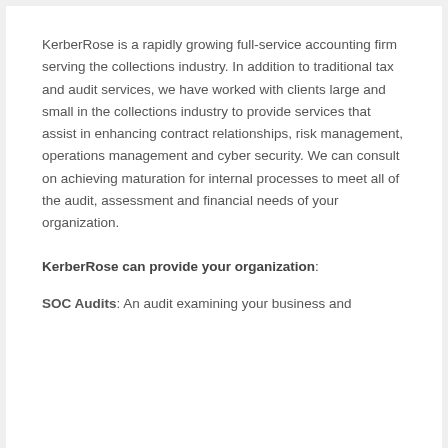KerberRose is a rapidly growing full-service accounting firm serving the collections industry. In addition to traditional tax and audit services, we have worked with clients large and small in the collections industry to provide services that assist in enhancing contract relationships, risk management, operations management and cyber security. We can consult on achieving maturation for internal processes to meet all of the audit, assessment and financial needs of your organization.
KerberRose can provide your organization:
SOC Audits: An audit examining your business and